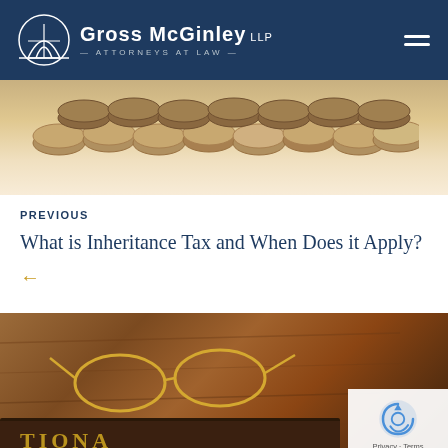Gross McGinley LLP Attorneys at Law
[Figure (photo): Stack of coins on a light background]
PREVIOUS
What is Inheritance Tax and When Does it Apply?
[Figure (photo): Eyeglasses resting on a wooden surface next to a leather-bound book with gold lettering]